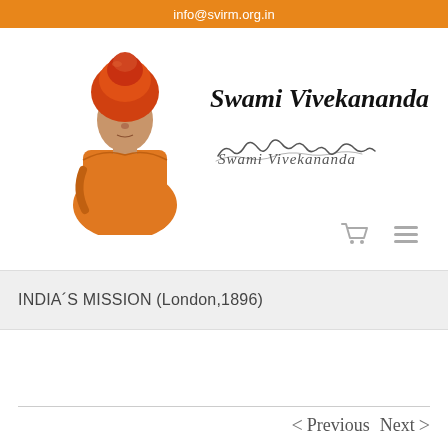info@svirm.org.in
[Figure (illustration): Portrait of Swami Vivekananda in orange robes and turban, with bold italic text 'Swami Vivekananda' and a cursive signature below]
INDIA´S MISSION (London,1896)
< Previous   Next >